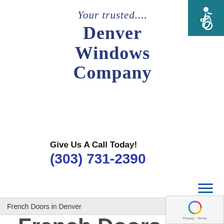[Figure (logo): Accessibility icon - wheelchair symbol on teal background, top right corner]
Your trusted.... Denver Windows Company
Give Us A Call Today!
(303) 731-2390
[Figure (other): Hamburger menu icon with three horizontal blue lines]
French Doors in Denver
French Doors in Denver, CO
[Figure (other): Google reCAPTCHA badge with spinning arrows logo and Privacy - Terms text]